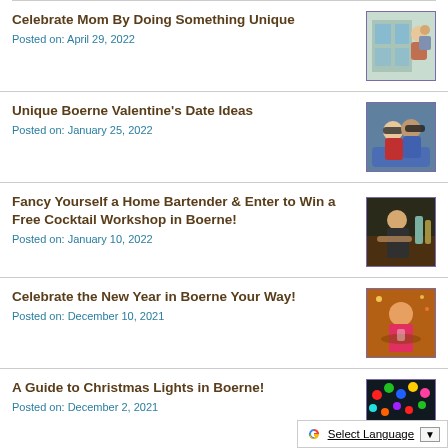Celebrate Mom By Doing Something Unique
Posted on: April 29, 2022
Unique Boerne Valentine's Date Ideas
Posted on: January 25, 2022
Fancy Yourself a Home Bartender & Enter to Win a Free Cocktail Workshop in Boerne!
Posted on: January 10, 2022
Celebrate the New Year in Boerne Your Way!
Posted on: December 10, 2021
A Guide to Christmas Lights in Boerne!
Posted on: December 2, 2021